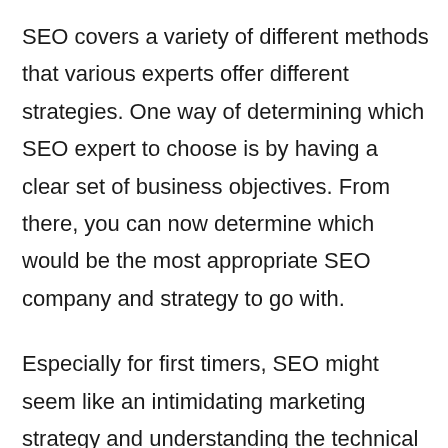SEO covers a variety of different methods that various experts offer different strategies. One way of determining which SEO expert to choose is by having a clear set of business objectives. From there, you can now determine which would be the most appropriate SEO company and strategy to go with.
Especially for first timers, SEO might seem like an intimidating marketing strategy and understanding the technical details of SEO would take some time. You need to look for a Calumet SEO consultant who could help simplify